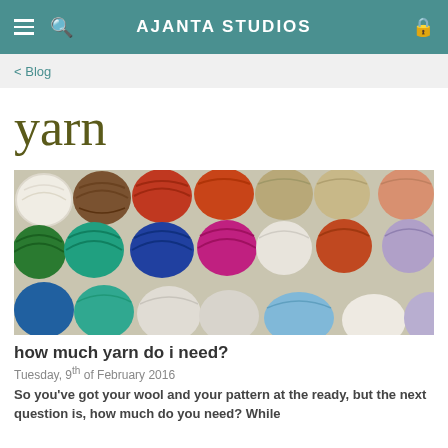AJANTA STUDIOS
< Blog
yarn
[Figure (photo): A collection of colorful yarn balls in various colors including white, brown, red, orange, green, teal, blue, magenta, beige, and lavender, arranged in rows filling the frame.]
how much yarn do i need?
Tuesday, 9th of February 2016
So you've got your wool and your pattern at the ready, but the next question is, how much do you need? While